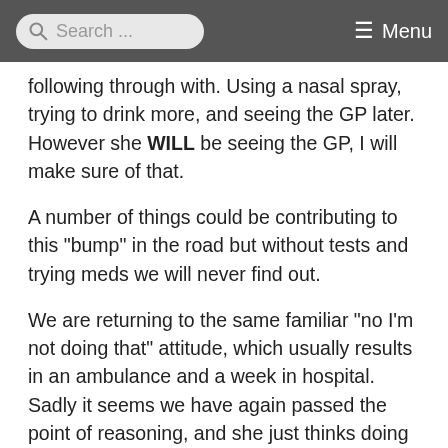Search ... Menu
following through with. Using a nasal spray, trying to drink more, and seeing the GP later. However she WILL be seeing the GP, I will make sure of that.
A number of things could be contributing to this "bump" in the road but without tests and trying meds we will never find out.
We are returning to the same familiar "no I'm not doing that" attitude, which usually results in an ambulance and a week in hospital. Sadly it seems we have again passed the point of reasoning, and she just thinks doing nothing about it, and sleeping more will solve the problem. So fingers crossed the